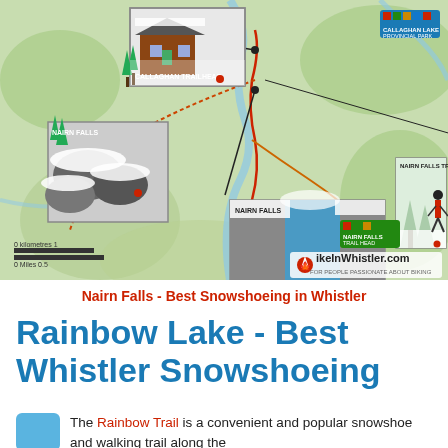[Figure (map): Trail map of Nairn Falls / Rainbow Lake area in Whistler showing hiking/snowshoe trails with inset photos of the trailhead, canyon rocks, Nairn Falls, and a snowshoer on trail. Includes HikeInWhistler.com logo.]
Nairn Falls - Best Snowshoeing in Whistler
Rainbow Lake - Best Whistler Snowshoeing
The Rainbow Trail is a convenient and popular snowshoe and walking trail along the...